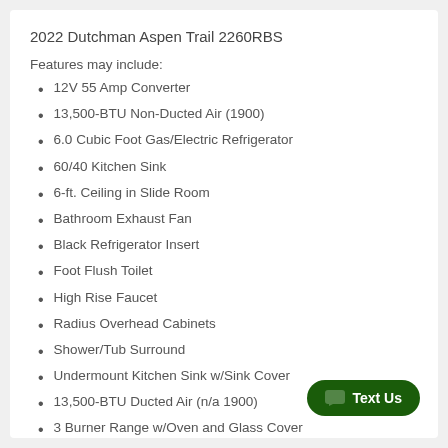2022 Dutchman Aspen Trail 2260RBS
Features may include:
12V 55 Amp Converter
13,500-BTU Non-Ducted Air (1900)
6.0 Cubic Foot Gas/Electric Refrigerator
60/40 Kitchen Sink
6-ft. Ceiling in Slide Room
Bathroom Exhaust Fan
Black Refrigerator Insert
Foot Flush Toilet
High Rise Faucet
Radius Overhead Cabinets
Shower/Tub Surround
Undermount Kitchen Sink w/Sink Cover
13,500-BTU Ducted Air (n/a 1900)
3 Burner Range w/Oven and Glass Cover